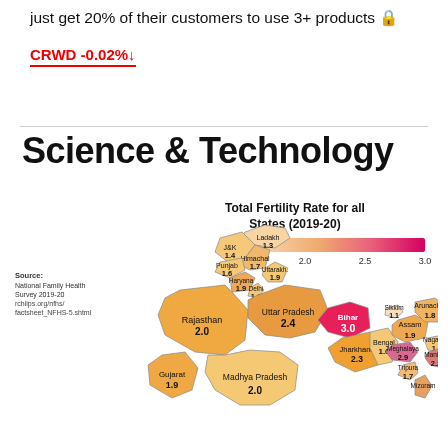just get 20% of their customers to use 3+ products 🔒
CRWD -0.02%↓
Science & Technology
[Figure (map): Choropleth map of India showing Total Fertility Rate for all States (2019-20). States labeled with their TFR values. Color scale from light orange (1.5) to dark pink/red (3.0). Source: National Family Health Survey 2019-20. Key values: Ladakh 1.3, J&K 1.4, Himachal 1.7, Punjab 1.6, Uttarakhand 1.4, Haryana 1.9, Delhi 1.6, Uttar Pradesh 2.4, Rajasthan 2.0, Gujarat 1.9, Madhya Pradesh 2.0, Bihar 3.0, Jharkhand 2.3, Bengal 1.6, Sikkim 1.1, Assam 1.9, Nagaland 1.7, Arunachal 1.8, Meghalaya 2.9, Manipur 2.2, Tripura 1.7, Mizoram (partial).]